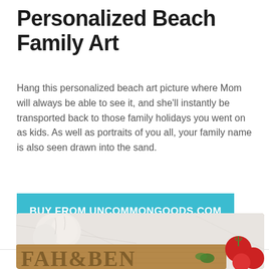Personalized Beach Family Art
Hang this personalized beach art picture where Mom will always be able to see it, and she'll instantly be transported back to those family holidays you went on as kids. As well as portraits of you all, your family name is also seen drawn into the sand.
[Figure (other): Teal/blue call-to-action button reading BUY FROM UNCOMMONGOODS.COM]
[Figure (photo): A wooden cutting board with carved letters spelling out names including FAH&BEN, surrounded by garlic bulbs and tomatoes on a marble surface]